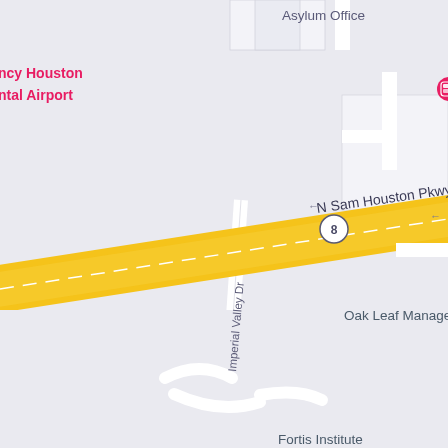[Figure (map): Google Maps screenshot showing area near N Sam Houston Pkwy E in Houston, Texas. Visible landmarks include: Asylum Office (top), Nancy Houston Intercontinental Airport (upper left), GuardTexas (upper right), Oak Leaf Management (middle), Fortis Institute (middle), Imperial Valley Dr (vertical road left), Spence Rd (vertical road right), Marcella Elementary School (lower middle), Imperial Landing (bottom center), Proserv Crane (bottom right), Frito-Lay (right side). A yellow highway band represents N Sam Houston Pkwy E with route marker 8.]